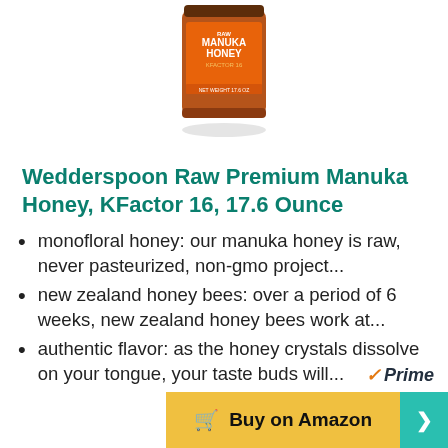[Figure (photo): Product image of Wedderspoon Raw Premium Manuka Honey jar with orange label, KFactor 16, 17.6 oz, partially cropped at top]
Wedderspoon Raw Premium Manuka Honey, KFactor 16, 17.6 Ounce
monofloral honey: our manuka honey is raw, never pasteurized, non-gmo project...
new zealand honey bees: over a period of 6 weeks, new zealand honey bees work at...
authentic flavor: as the honey crystals dissolve on your tongue, your taste buds will...